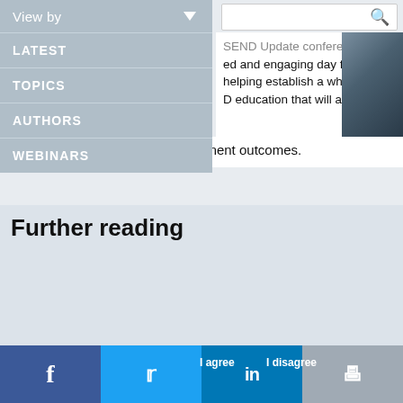[Figure (screenshot): Navigation dropdown menu with options: View by (with arrow), LATEST, TOPICS, AUTHORS, WEBINARS on a grey-blue background]
[Figure (screenshot): Search bar with magnifying glass icon in blue]
[Figure (screenshot): Blue subscribe button showing 'SCRIBE' (partially visible)]
SEND Update conference ed and engaging day for helping establish a whole- D education that will assist with provision and improve attainment outcomes.
Further reading
This website uses cookies to improve user experience. By using our website you consent to all cookies in accordance with our Cookie Policy.   Read more
Recognising mental health in students with learning disabilities
It's time to take action on SENCO workload
[Figure (screenshot): Social sharing footer with Facebook, Twitter, LinkedIn and print icons. Cookie consent buttons 'I agree' and 'I disagree' overlaid.]